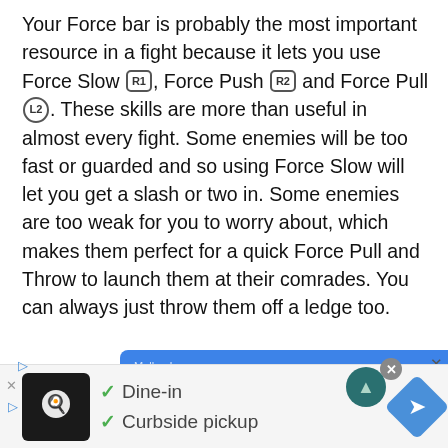Your Force bar is probably the most important resource in a fight because it lets you use Force Slow [R1], Force Push [R2] and Force Pull [L2]. These skills are more than useful in almost every fight. Some enemies will be too fast or guarded and so using Force Slow will let you get a slash or two in. Some enemies are too weak for you to worry about, which makes them perfect for a quick Force Pull and Throw to launch them at their comrades. You can always just throw them off a ledge too.
[Figure (screenshot): Advertisement for Muller, Inc. with blue background, company name, and close/play buttons]
[Figure (screenshot): Bottom ad bar with restaurant logo, Dine-in and Curbside pickup options, and navigation icon]